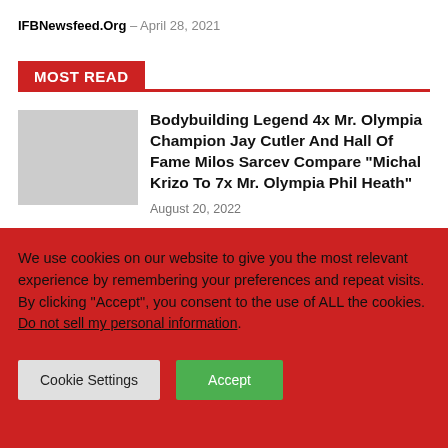IFBNewsfeed.Org – April 28, 2021
MOST READ
Bodybuilding Legend 4x Mr. Olympia Champion Jay Cutler And Hall Of Fame Milos Sarcev Compare "Michal Krizo To 7x Mr. Olympia Phil Heath"
August 20, 2022
We use cookies on our website to give you the most relevant experience by remembering your preferences and repeat visits. By clicking “Accept”, you consent to the use of ALL the cookies.
Do not sell my personal information.